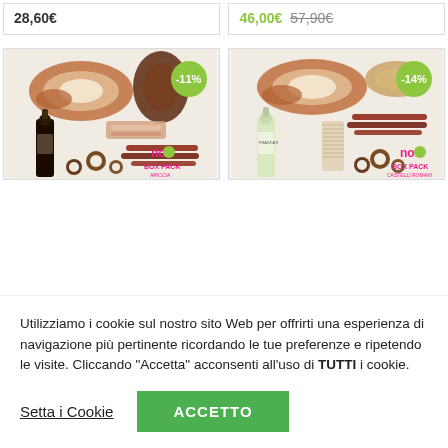28,60€ (left product price)
46,00€  57,90€ (right product prices)
[Figure (photo): Product box pack with cured meats, wine bottle, snacks and chocolate rings. Discount badge: -11%]
[Figure (photo): Product box pack with cured meats, white wine bottle, crackers, snacks and chocolate rings. Discount badge: -14%]
Utilizziamo i cookie sul nostro sito Web per offrirti una esperienza di navigazione più pertinente ricordando le tue preferenze e ripetendo le visite. Cliccando "Accetta" acconsenti all'uso di TUTTI i cookie.
Setta i Cookie
ACCETTO